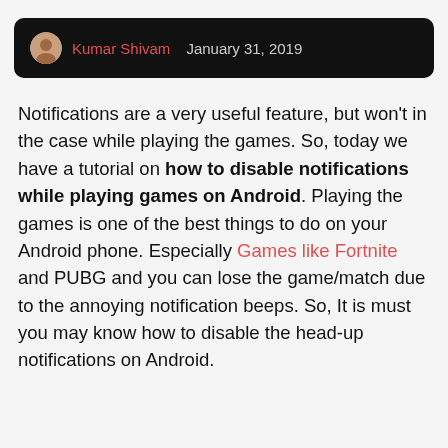Kumar Shivam  January 31, 2019
Notifications are a very useful feature, but won't in the case while playing the games. So, today we have a tutorial on how to disable notifications while playing games on Android. Playing the games is one of the best things to do on your Android phone. Especially Games like Fortnite and PUBG and you can lose the game/match due to the annoying notification beeps. So, It is must you may know how to disable the head-up notifications on Android.